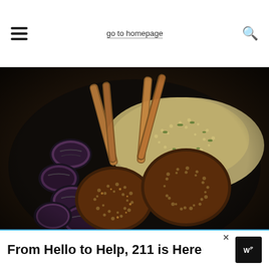go to homepage
[Figure (photo): Overhead close-up photo of spiced lamb chops with a sesame/nut crust on a dark plate, served with couscous and grilled eggplant slices garnished with mint leaves]
From Hello to Help, 211 is Here